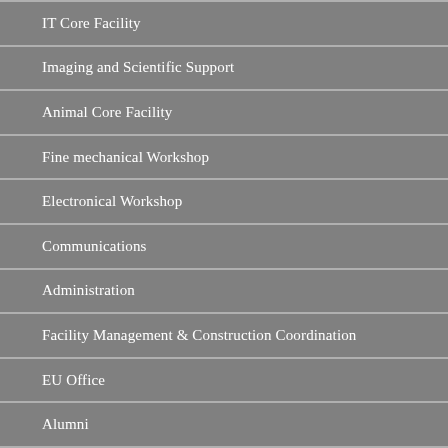IT Core Facility
Imaging and Scientific Support
Animal Core Facility
Fine mechanical Workshop
Electronical Workshop
Communications
Administration
Facility Management & Construction Coordination
EU Office
Alumni